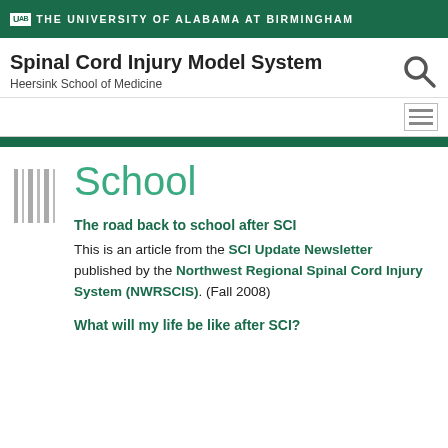UAB THE UNIVERSITY OF ALABAMA AT BIRMINGHAM
Spinal Cord Injury Model System
Heersink School of Medicine
School
The road back to school after SCI
This is an article from the SCI Update Newsletter published by the Northwest Regional Spinal Cord Injury System (NWRSCIS). (Fall 2008)
What will my life be like after SCI?